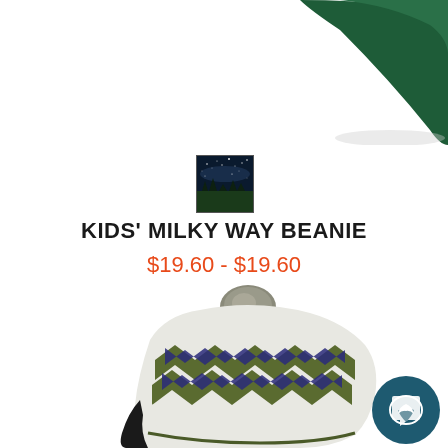[Figure (photo): Dark green knit beanie hat partially visible at top of page, cropped]
[Figure (photo): Small thumbnail image of night sky with trees silhouette, Milky Way scene]
KIDS' MILKY WAY BEANIE
$19.60 - $19.60
[Figure (photo): Kids earflap winter hat with pom-pom on top, white/grey base with olive green and navy blue zigzag chevron pattern, black fleece lining on earflaps]
[Figure (other): Orange SALE badge circle in upper right area of second product]
[Figure (logo): Teal/dark blue circular chat support button with messenger leaf icon in bottom right corner]